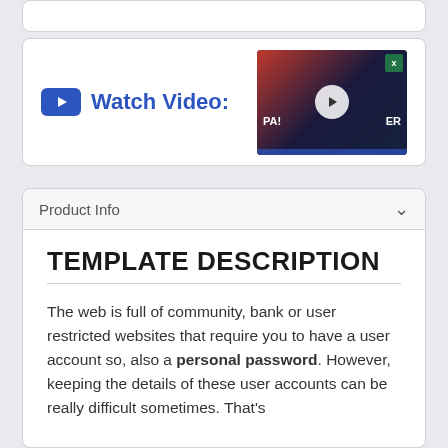[Figure (screenshot): Top portion of a card UI element (partially visible)]
[Figure (screenshot): Watch Video card with YouTube-style play icon, blue 'Watch Video:' label, and a video thumbnail showing locked padlock imagery with play button overlay]
Product Info
TEMPLATE DESCRIPTION
The web is full of community, bank or user restricted websites that require you to have a user account so, also a personal password. However, keeping the details of these user accounts can be really difficult sometimes. That's